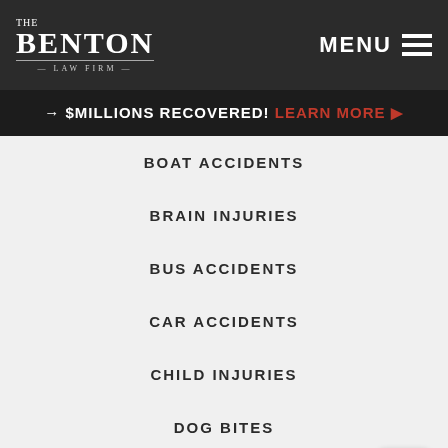The Benton Law Firm — MENU
→ $MILLIONS RECOVERED! LEARN MORE ▶
BOAT ACCIDENTS
BRAIN INJURIES
BUS ACCIDENTS
CAR ACCIDENTS
CHILD INJURIES
DOG BITES
DRUG INJURIES
DUI CRASH
FALSE IMPRISONMENT
FIRES & EXPLOSIONS
HIT AND RUN CRASH